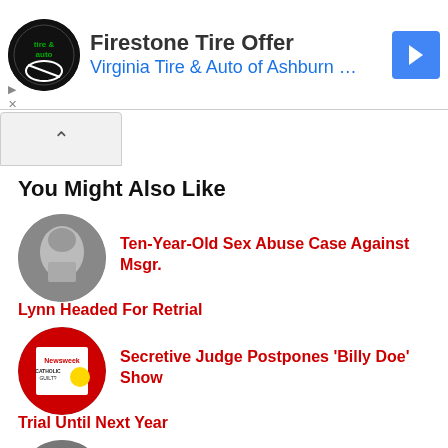[Figure (other): Advertisement banner for Firestone Tire Offer - Virginia Tire & Auto of Ashburn with circular logo and navigation arrow]
You Might Also Like
Ten-Year-Old Sex Abuse Case Against Msgr. Lynn Headed For Retrial
Secretive Judge Postpones 'Billy Doe' Show Trial Until Next Year
The Elephant In The Room Named Billy
4 comments